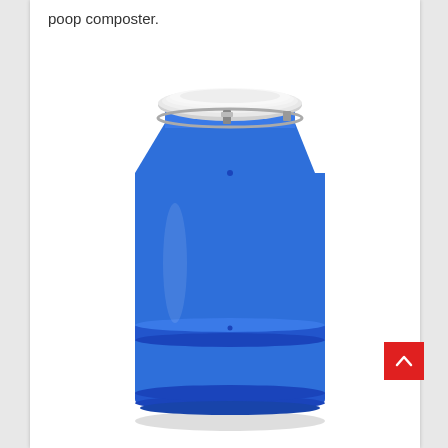poop composter.
[Figure (photo): A blue plastic barrel/drum with a white lid secured by a metal latch band. The barrel is cylindrical with ribbed bands near the top and bottom, used as a poop composter.]